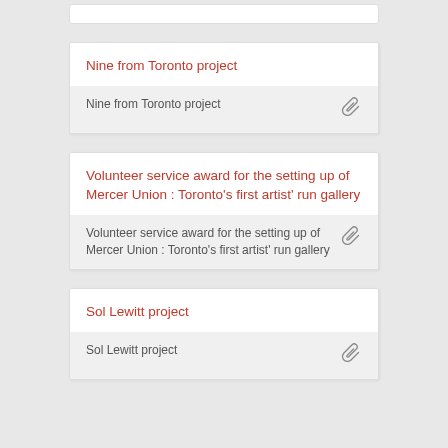Nine from Toronto project
Volunteer service award for the setting up of Mercer Union : Toronto's first artist' run gallery
Sol Lewitt project